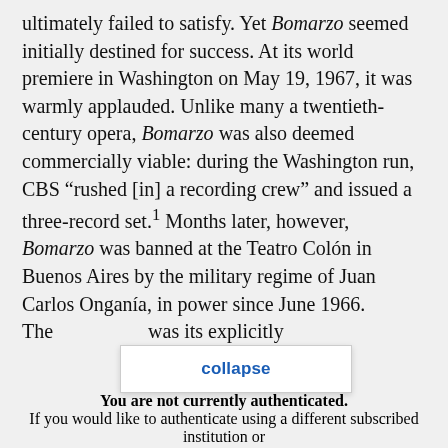ultimately failed to satisfy. Yet Bomarzo seemed initially destined for success. At its world premiere in Washington on May 19, 1967, it was warmly applauded. Unlike many a twentieth-century opera, Bomarzo was also deemed commercially viable: during the Washington run, CBS “rushed [in] a recording crew” and issued a three-record set.¹ Months later, however, Bomarzo was banned at the Teatro Colón in Buenos Aires by the military regime of Juan Carlos Onganía, in power since June 1966. The [collapse] was its explicitly sexual content...
collapse
You are not currently authenticated. If you would like to authenticate using a different subscribed institution or
This website uses cookies to ensure you get the best experience on our website. Without cookies your experience may not be seamless.
Accept